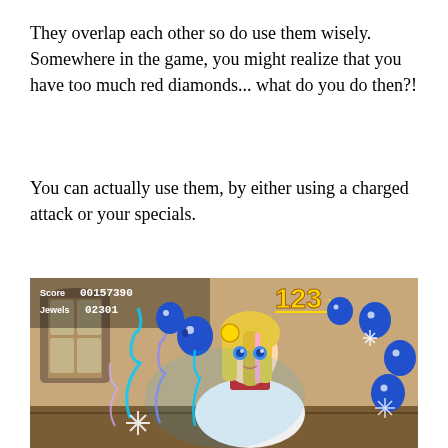They overlap each other so do use them wisely. Somewhere in the game, you might realize that you have too much red diamonds... what do you do then?!
You can actually use them, by either using a charged attack or your specials.
[Figure (screenshot): A video game screenshot showing an anime-style blonde female character performing a special attack with blue lightning effects and blue blob enemies. HUD shows Score: 00157390, Jewels: 02301, and 123 hit combo counter.]